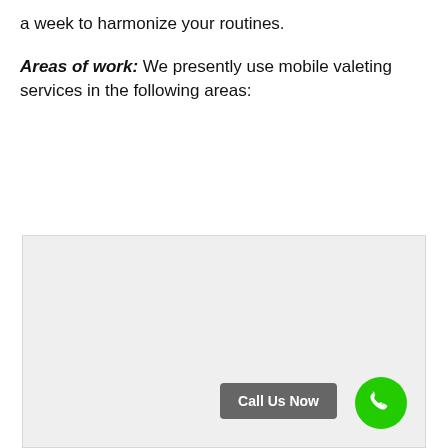a week to harmonize your routines.
Areas of work: We presently use mobile valeting services in the following areas:
[Figure (map): Embedded map area showing service areas, with a 'Call Us Now' button and green phone icon in the bottom right corner.]